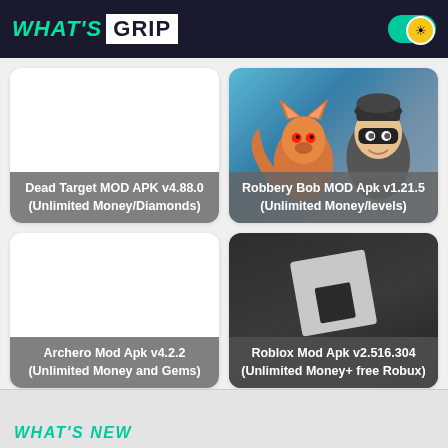WHAT'S GRIP
[Figure (screenshot): Dead Target MOD APK card - white background game card]
Dead Target MOD APK v4.88.0 (Unlimited Money/Diamonds)
[Figure (screenshot): Robbery Bob MOD Apk card - cartoon burglar with fox game art]
Robbery Bob MOD Apk v1.21.5 (Unlimited Money/levels)
[Figure (screenshot): Archero Mod Apk card - white background game card]
Archero Mod Apk v4.2.2 (Unlimited Money and Gems)
[Figure (screenshot): Roblox Mod Apk card - dark background with Roblox logo]
Roblox Mod Apk v2.516.304 (Unlimited Money+ free Robux)
WHAT'S NEW